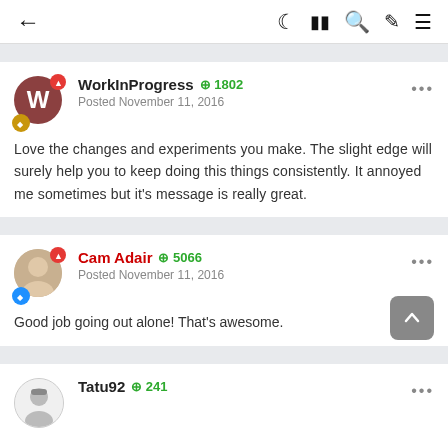← navigation bar with icons: moon, grid, search, brush, menu
WorkInProgress +1802 Posted November 11, 2016 — Love the changes and experiments you make. The slight edge will surely help you to keep doing this things consistently. It annoyed me sometimes but it's message is really great.
Cam Adair +5066 Posted November 11, 2016 — Good job going out alone! That's awesome.
Tatu92 +241